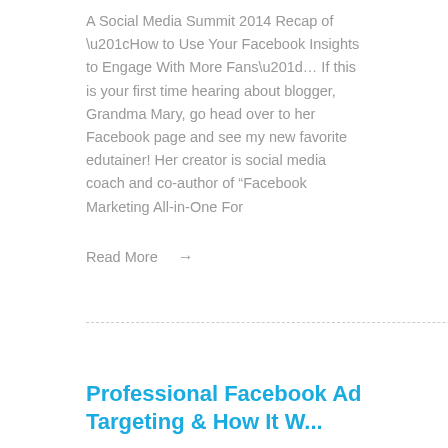A Social Media Summit 2014 Recap of “How to Use Your Facebook Insights to Engage With More Fans”… If this is your first time hearing about blogger, Grandma Mary, go head over to her Facebook page and see my new favorite edutainer! Her creator is social media coach and co-author of “Facebook Marketing All-in-One For
Read More →
Professional Facebook Ad Targeting & How It W...